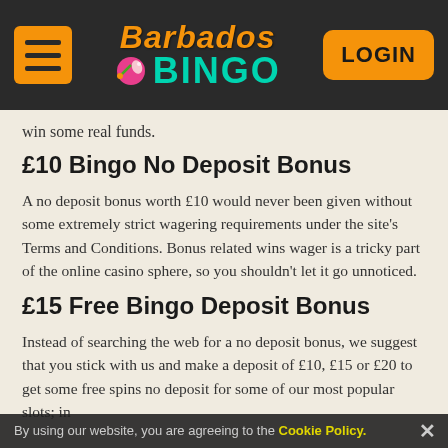[Figure (logo): Barbados Bingo logo with hamburger menu icon and LOGIN button on dark header bar]
win some real funds.
£10 Bingo No Deposit Bonus
A no deposit bonus worth £10 would never been given without some extremely strict wagering requirements under the site's Terms and Conditions. Bonus related wins wager is a tricky part of the online casino sphere, so you shouldn't let it go unnoticed.
£15 Free Bingo Deposit Bonus
Instead of searching the web for a no deposit bonus, we suggest that you stick with us and make a deposit of £10, £15 or £20 to get some free spins no deposit for some of our most popular slots; in
By using our website, you are agreeing to the Cookie Policy.